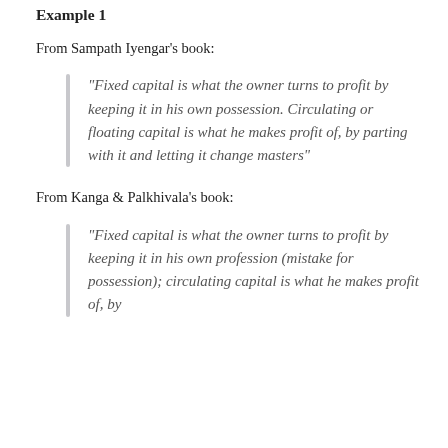Example 1
From Sampath Iyengar’s book:
“Fixed capital is what the owner turns to profit by keeping it in his own possession. Circulating or floating capital is what he makes profit of, by parting with it and letting it change masters”
From Kanga & Palkhivala’s book:
“Fixed capital is what the owner turns to profit by keeping it in his own profession (mistake for possession); circulating capital is what he makes profit of, by